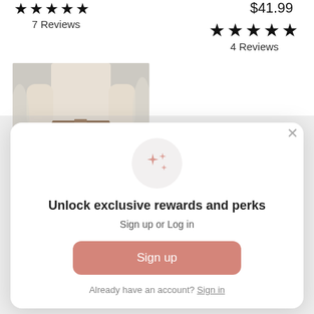★★★★★ 7 Reviews
$41.99
★★★★★ 4 Reviews
[Figure (photo): Fashion photo showing a person wearing a white knit sweater tucked into light blue jeans with a brown belt, standing in front of a light background with feathery decor.]
Jeans
[Figure (infographic): Modal popup with sparkle icon, titled 'Unlock exclusive rewards and perks', subtitle 'Sign up or Log in', a pink Sign up button, and a link 'Already have an account? Sign in'. Close (×) button in top right.]
Unlock exclusive rewards and perks
Sign up or Log in
Sign up
Already have an account? Sign in